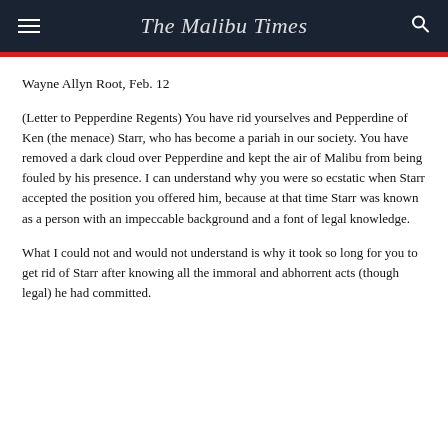The Malibu Times
Wayne Allyn Root, Feb. 12
(Letter to Pepperdine Regents) You have rid yourselves and Pepperdine of Ken (the menace) Starr, who has become a pariah in our society. You have removed a dark cloud over Pepperdine and kept the air of Malibu from being fouled by his presence. I can understand why you were so ecstatic when Starr accepted the position you offered him, because at that time Starr was known as a person with an impeccable background and a font of legal knowledge.
What I could not and would not understand is why it took so long for you to get rid of Starr after knowing all the immoral and abhorrent acts (though legal) he had committed.